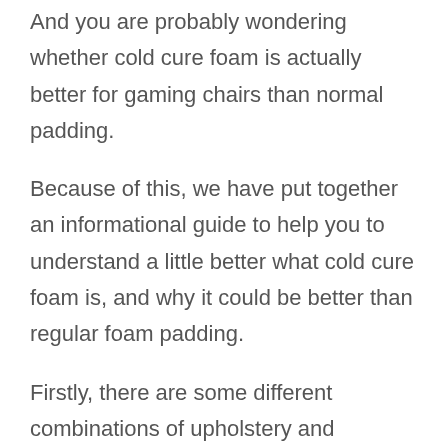And you are probably wondering whether cold cure foam is actually better for gaming chairs than normal padding.
Because of this, we have put together an informational guide to help you to understand a little better what cold cure foam is, and why it could be better than regular foam padding.
Firstly, there are some different combinations of upholstery and padding that gaming chairs tend to be made of. Here is a brief list of some examples, and